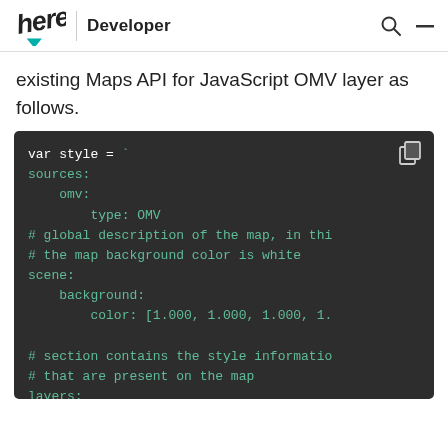here Developer
existing Maps API for JavaScript OMV layer as follows.
[Figure (screenshot): Dark-themed code block showing a YAML/style configuration snippet with fields: var style = `, sources:, omv:, type: OMV, comments about global description and background color, scene:, background:, color: [1.000, 1.000, 1.000, 1...], section comment, layers:, water_areas:]